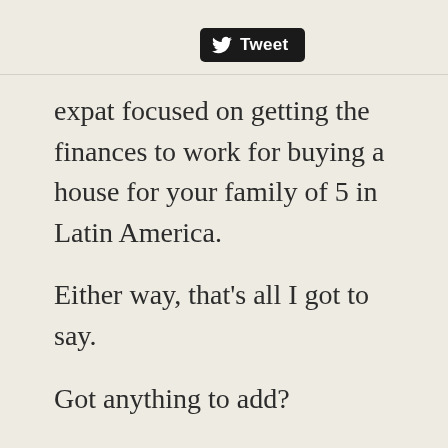[Figure (other): Tweet button with Twitter bird logo on black rounded rectangle background]
expat focused on getting the finances to work for buying a house for your family of 5 in Latin America.
Either way, that’s all I got to say.
Got anything to add?
Drop a comment below in the comment section.